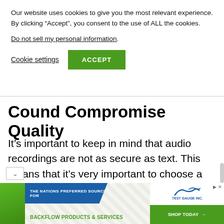Our website uses cookies to give you the most relevant experience. By clicking “Accept”, you consent to the use of ALL the cookies.
Do not sell my personal information.
Cookie settings
ACCEPT
Cound Compromise Quality
It’s important to keep in mind that audio recordings are not as secure as text. This means that it’s very important to choose a quality transcription provider carefully
[Figure (infographic): Advertisement banner for Test Gauge Inc. showing blue bar with 'THE NATIONS PREFERRED SOURCE FOR', green text 'BACKFLOW PRODUCTS & SERVICES', logo, and 'SHOP TODAY' button]